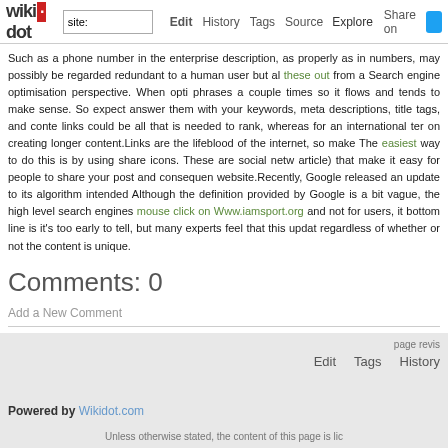wikidot | Edit | History | Tags | Source | Explore | Share on
Such as a phone number in the enterprise description, as properly as in numbers, may possibly be regarded redundant to a human user but al these out from a Search engine optimisation perspective. When opti phrases a couple times so it flows and tends to make sense. So expect answer them with your keywords, meta descriptions, title tags, and conte links could be all that is needed to rank, whereas for an international ter on creating longer content.Links are the lifeblood of the internet, so make The easiest way to do this is by using share icons. These are social netw article) that make it easy for people to share your post and consequen website.Recently, Google released an update to its algorithm intended Although the definition provided by Google is a bit vague, the high level search engines mouse click on Www.iamsport.org and not for users, it bottom line is it's too early to tell, but many experts feel that this updat regardless of whether or not the content is unique.
Comments: 0
Add a New Comment
page revis | Edit | Tags | History
Powered by Wikidot.com
Unless otherwise stated, the content of this page is lic